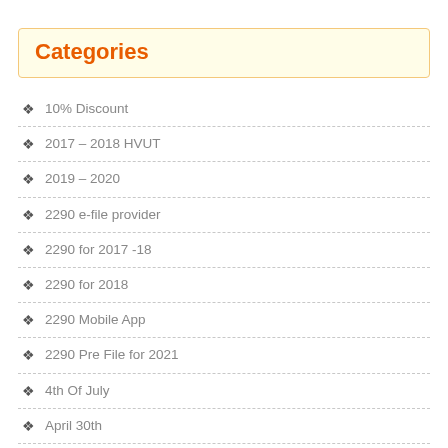Categories
10% Discount
2017 – 2018 HVUT
2019 – 2020
2290 e-file provider
2290 for 2017 -18
2290 for 2018
2290 Mobile App
2290 Pre File for 2021
4th Of July
April 30th